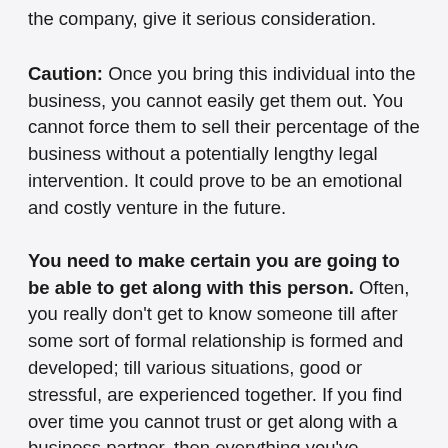the company, give it serious consideration.
Caution: Once you bring this individual into the business, you cannot easily get them out. You cannot force them to sell their percentage of the business without a potentially lengthy legal intervention. It could prove to be an emotional and costly venture in the future.
You need to make certain you are going to be able to get along with this person. Often, you really don't get to know someone till after some sort of formal relationship is formed and developed; till various situations, good or stressful, are experienced together. If you find over time you cannot trust or get along with a business partner, then everything you've worked for is suddenly very unpleasant and uncertain. All the